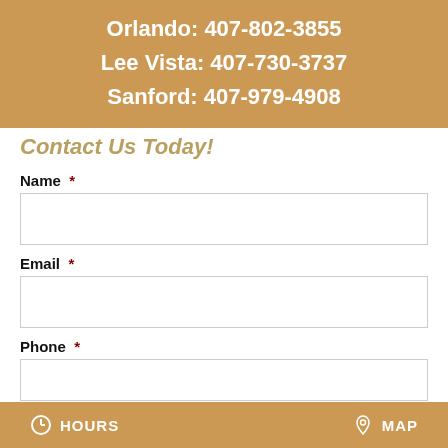Orlando: 407-802-3855
Lee Vista: 407-730-3737
Sanford: 407-979-4908
Contact Us Today!
Name *
Email *
Phone *
HOURS   MAP